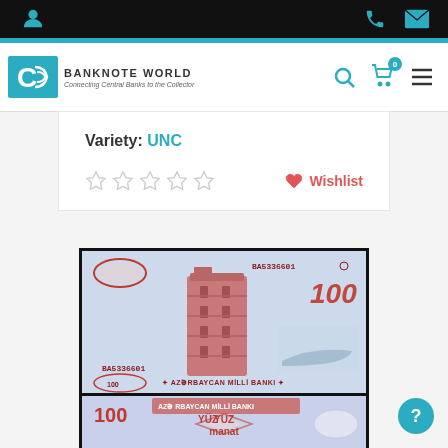Banknote World - Connecting Central Banks to the Collector
Variety: UNC
★★★★★ Wishlist
[Figure (photo): Front of Azerbaijan 100 Manat banknote (serial number BA5336601) showing the Maiden Tower and text AZƏRBAYCAN MİLLİ BANKI]
[Figure (photo): Back of Azerbaijan 100 Manat banknote showing '100' and 'YÜZ manat' text with decorative patterns]